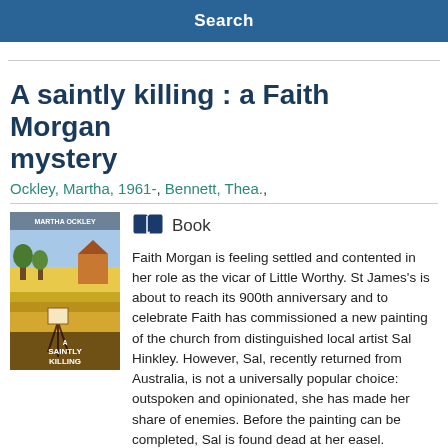Search
A saintly killing : a Faith Morgan mystery
Ockley, Martha, 1961-, Bennett, Thea.,
[Figure (illustration): Book cover for 'A Saintly Killing' showing an outdoor painting easel scene in warm yellow tones with text 'MARTHA OCKLEY' at top and 'A SAINTLY KILLING' at bottom]
Book
Faith Morgan is feeling settled and contented in her role as the vicar of Little Worthy. St James's is about to reach its 900th anniversary and to celebrate Faith has commissioned a new painting of the church from distinguished local artist Sal Hinkley. However, Sal, recently returned from Australia, is not a universally popular choice: outspoken and opinionated, she has made her share of enemies. Before the painting can be completed, Sal is found dead at her easel. Suddenly,